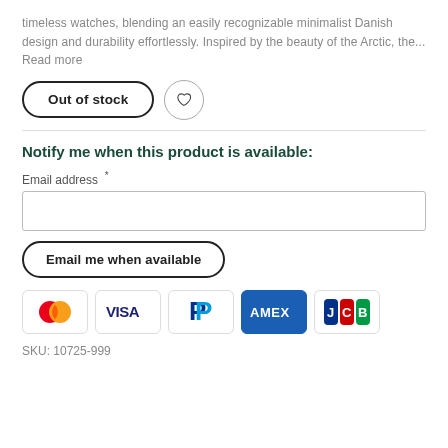timeless watches, blending an easily recognizable minimalist Danish design and durability effortlessly. Inspired by the beauty of the Arctic, the... Read more
Out of stock
Notify me when this product is available:
Email address *
Email me when available
[Figure (other): Payment method icons: Mastercard, Visa, PayPal, Amex, JCB]
SKU: 10725-999